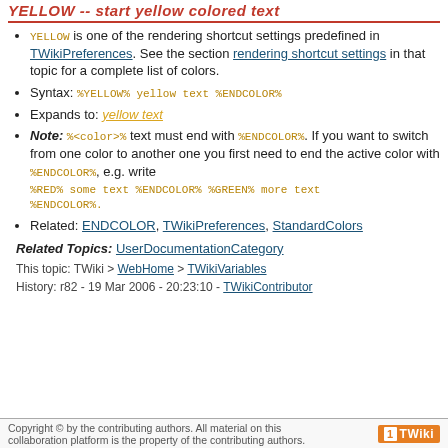YELLOW -- start yellow colored text
YELLOW is one of the rendering shortcut settings predefined in TWikiPreferences. See the section rendering shortcut settings in that topic for a complete list of colors.
Syntax: %YELLOW% yellow text %ENDCOLOR%
Expands to: yellow text
Note: %<color>% text must end with %ENDCOLOR%. If you want to switch from one color to another one you first need to end the active color with %ENDCOLOR%, e.g. write
%RED% some text %ENDCOLOR% %GREEN% more text %ENDCOLOR%.
Related: ENDCOLOR, TWikiPreferences, StandardColors
Related Topics: UserDocumentationCategory
This topic: TWiki > WebHome > TWikiVariables
History: r82 - 19 Mar 2006 - 20:23:10 - TWikiContributor
Copyright © by the contributing authors. All material on this collaboration platform is the property of the contributing authors.